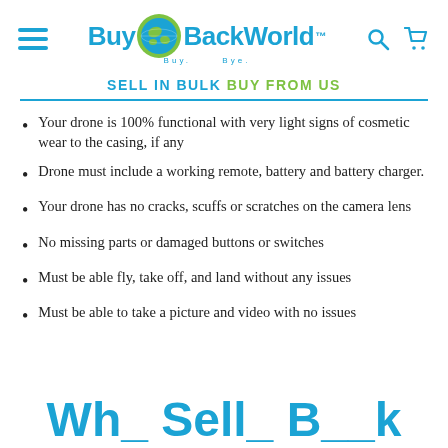BuyBackWorld™ — navigation header with hamburger menu, logo, search and cart icons
SELL IN BULK BUY FROM US
Your drone is 100% functional with very light signs of cosmetic wear to the casing, if any
Drone must include a working remote, battery and battery charger.
Your drone has no cracks, scuffs or scratches on the camera lens
No missing parts or damaged buttons or switches
Must be able fly, take off, and land without any issues
Must be able to take a picture and video with no issues
Wh_ Sell_ B__ B_ck W_rld?